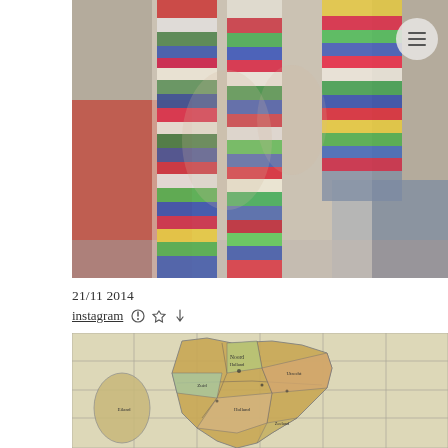[Figure (photo): Close-up photo of hands holding a rainbow-striped knitted scarf, wearing a colorful striped knit arm warmer. Person is wearing a red top and jeans. Background is grey floor.]
21/11 2014
instagram ⚙ 🔔
[Figure (map): Vintage-style illustrated map of the Netherlands showing historical or fantasy regions with Dutch/old text labels. Grid lines visible on a cream-colored background.]